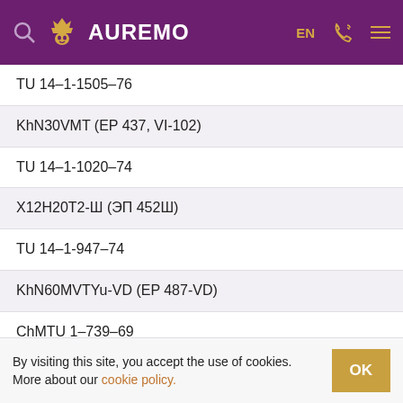AUREMO — EN
TU 14–1-1505–76
KhN30VMT (EP 437, VI-102)
TU 14–1-1020–74
Х12Н20Т2-Ш (ЭП 452Ш)
TU 14–1-947–74
KhN60MVTYu-VD (EP 487-VD)
ChMTU 1–739–69
1Х18Н10Т-ВД (ЭП 502)
TU 14–1-496–73
By visiting this site, you accept the use of cookies. More about our cookie policy.